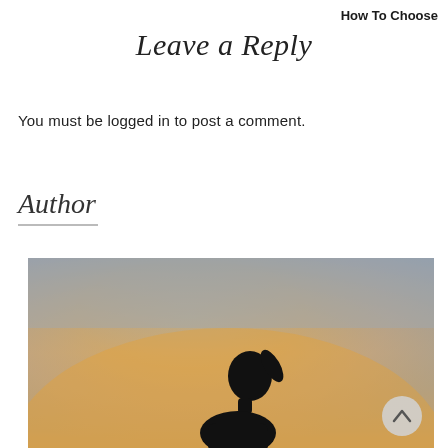How To Choose
Leave a Reply
You must be logged in to post a comment.
Author
[Figure (photo): Silhouette of a person with a ponytail looking upward against a warm sunset gradient sky in shades of orange, gold, and grey. A circular scroll-to-top arrow button is visible in the lower right.]